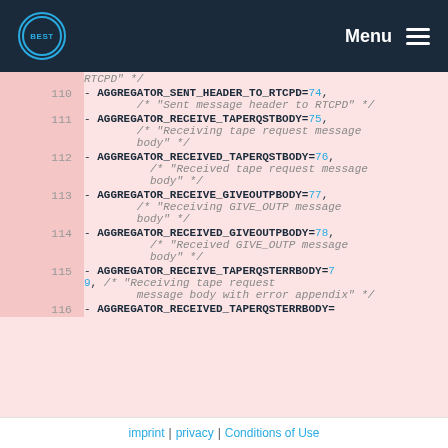BEST Menu
Code listing showing AGGREGATOR enum values lines 110-116 with comments
imprint | privacy | Conditions of Use